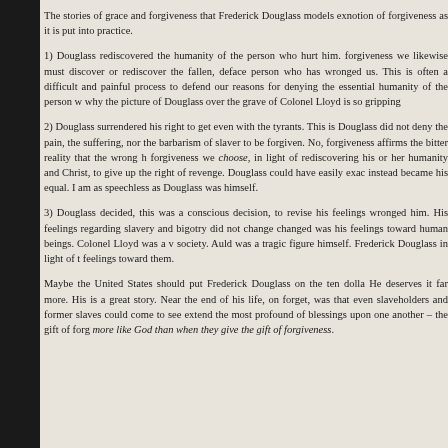The stories of grace and forgiveness that Frederick Douglass models ex... notion of forgiveness as it is put into practice.
1) Douglass rediscovered the humanity of the person who hurt him. ...forgiveness we likewise must discover or rediscover the fallen, deface... person who has wronged us. This is often a difficult and painful process ...to defend our reasons for denying the essential humanity of the person w... why the picture of Douglass over the grave of Colonel Lloyd is so gripping
2) Douglass surrendered his right to get even with the tyrants. This is... Douglass did not deny the pain, the suffering, nor the barbarism of slaver... to be forgiven. No, forgiveness affirms the bitter reality that the wrong h... forgiveness we choose, in light of rediscovering his or her humanity and ... Christ, to give up the right of revenge. Douglass could have easily exac... instead became his equal. I am as speechless as Douglass was himself.
3) Douglass decided, this was a conscious decision, to revise his feelings... wronged him. His feelings regarding slavery and bigotry did not change... changed was his feelings toward human beings. Colonel Lloyd was a v... society. Auld was a tragic figure himself. Frederick Douglass in light of t... feelings toward them.
Maybe the United States should put Frederick Douglass on the ten dolla... He deserves it far more. His is a great story. Near the end of his life, on... forget, was that even slaveholders and former slaves could come to see ... extend the most profound of blessings upon one another – the gift of forg... more like God than when they give the gift of forgiveness.